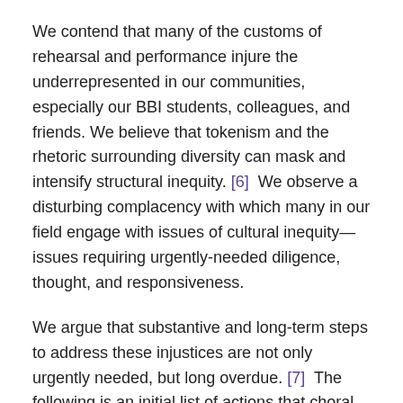We contend that many of the customs of rehearsal and performance injure the underrepresented in our communities, especially our BBI students, colleagues, and friends. We believe that tokenism and the rhetoric surrounding diversity can mask and intensify structural inequity. [6]  We observe a disturbing complacency with which many in our field engage with issues of cultural inequity—issues requiring urgently-needed diligence, thought, and responsiveness.
We argue that substantive and long-term steps to address these injustices are not only urgently needed, but long overdue. [7]  The following is an initial list of actions that choral organizations and practitioners can commit to implementing towards these goals.
Authored by: Alexander Lloyd Blake, Tonality; Emilie Amrein, University of San Diego; Dr. Melissa Dunphy,